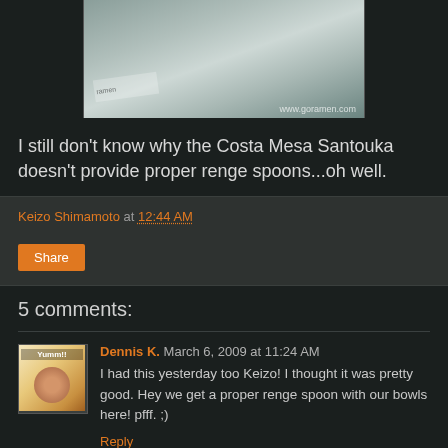[Figure (photo): Top portion of a photo showing a bowl of ramen, partially cropped, with watermark 'www.goramen.com' at bottom right]
I still don't know why the Costa Mesa Santouka doesn't provide proper renge spoons...oh well.
Keizo Shimamoto at 12:44 AM
Share
5 comments:
Dennis K. March 6, 2009 at 11:24 AM
I had this yesterday too Keizo! I thought it was pretty good. Hey we get a proper renge spoon with our bowls here! pfff. ;)
Reply